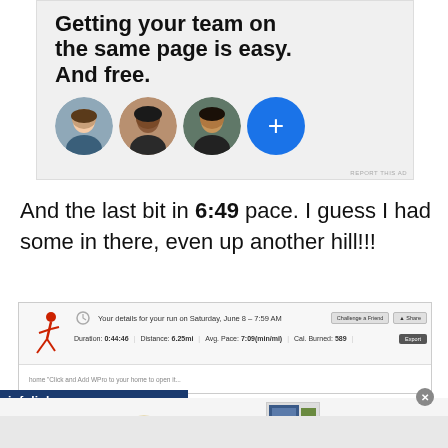[Figure (screenshot): Advertisement banner with bold text 'Getting your team on the same page is easy. And free.' with circular profile photo avatars and a blue plus button. 'REPORT THIS AD' text at bottom right.]
And the last bit in 6:49 pace. I guess I had some in there, even up another hill!!!
[Figure (screenshot): RunKeeper app screenshot showing run details for Saturday, June 8 – 7:59 AM. Duration: 0:44:46, Distance: 6.25mi, Avg. Pace: 7:09(min/mi), Cal. Burned: 589. Buttons: Challenge a Friend, Share, Export.]
[Figure (screenshot): Infolinks ad bar and SmartPak advertisement with horse logo, brand name 'SMARTPAK HEALTH HORSE | HAPPY RIDER', and product image placeholder. Close button (x) at top right.]